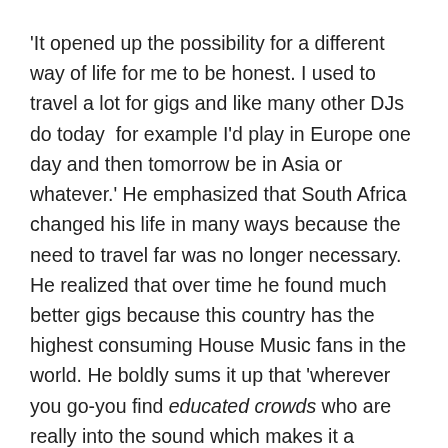'It opened up the possibility for a different way of life for me to be honest. I used to travel a lot for gigs and like many other DJs do today  for example I'd play in Europe one day and then tomorrow be in Asia or whatever.' He emphasized that South Africa changed his life in many ways because the need to travel far was no longer necessary. He realized that over time he found much better gigs because this country has the highest consuming House Music fans in the world. He boldly sums it up that 'wherever you go-you find educated crowds who are really into the sound which makes it a pleasure for a DJ like me to play for them.' (I just love that he calls real House Music fans educated crowds! )
His move South reduced his time on the road and he could still play the same amount of gigs or more. He